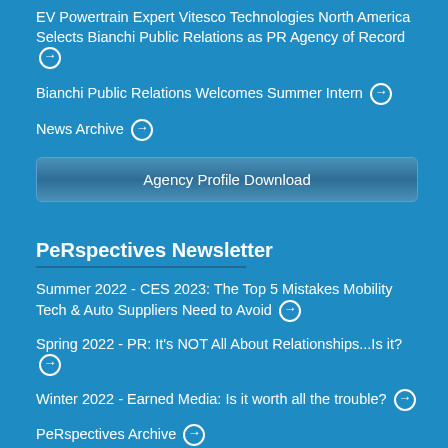EV Powertrain Expert Vitesco Technologies North America Selects Bianchi Public Relations as PR Agency of Record →
Bianchi Public Relations Welcomes Summer Intern →
News Archive →
Agency Profile Download
PeRspectives Newsletter
Summer 2022 - CES 2023: The Top 5 Mistakes Mobility Tech & Auto Suppliers Need to Avoid →
Spring 2022 - PR: It's NOT All About Relationships...Is it? →
Winter 2022 - Earned Media: Is it worth all the trouble? →
PeRspectives Archive →